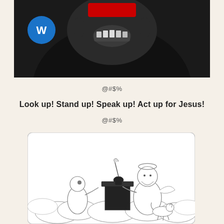[Figure (photo): Dark background photo of a person with mouth open, with a red rectangle at top center and a blue Warner Music logo (stylized W) in the upper left area]
@#$%
Look up! Stand up! Speak up! Act up for Jesus!
@#$%
[Figure (illustration): Black and white cartoon illustration showing a person approaching a saint/angel figure with a halo sitting at a desk with a quill pen and inkwell, with a small dog nearby, all set among clouds]